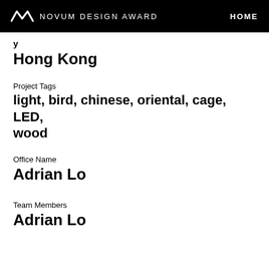NOVUM DESIGN AWARD   HOME
y
Hong Kong
Project Tags
light, bird, chinese, oriental, cage, LED, wood
Office Name
Adrian Lo
Team Members
Adrian Lo